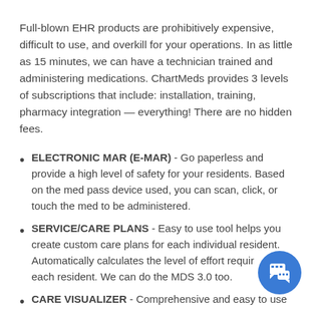Full-blown EHR products are prohibitively expensive, difficult to use, and overkill for your operations. In as little as 15 minutes, we can have a technician trained and administering medications. ChartMeds provides 3 levels of subscriptions that include: installation, training, pharmacy integration — everything! There are no hidden fees.
ELECTRONIC MAR (E-MAR) - Go paperless and provide a high level of safety for your residents. Based on the med pass device used, you can scan, click, or touch the med to be administered.
SERVICE/CARE PLANS - Easy to use tool helps you create custom care plans for each individual resident. Automatically calculates the level of effort required for each resident. We can do the MDS 3.0 too.
CARE VISUALIZER - Comprehensive and easy to use